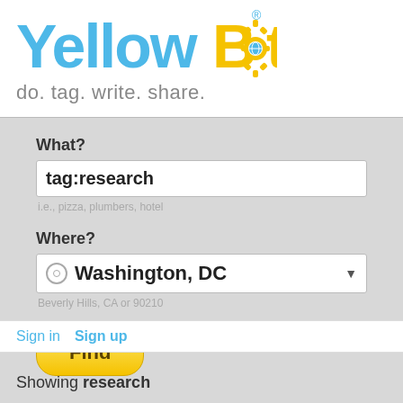[Figure (logo): YellowBot logo with gear icon, blue and yellow text]
do. tag. write. share.
[Figure (screenshot): Search form with What? and Where? fields, tag:research entered, Washington DC location, Find button]
Sign in  Sign up
Showing research